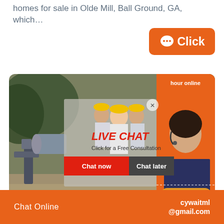homes for sale in Olde Mill, Ball Ground, GA, which…
[Figure (screenshot): Orange 'Click' button with chat bubble icon]
[Figure (screenshot): Live chat advertisement banner with construction workers, headset operator, 'LIVE CHAT – Click for a Free Consultation', Chat now / Chat later buttons, hour online, Click to chat, Enquiry labels]
Chat Online
cywaitml @gmail.com